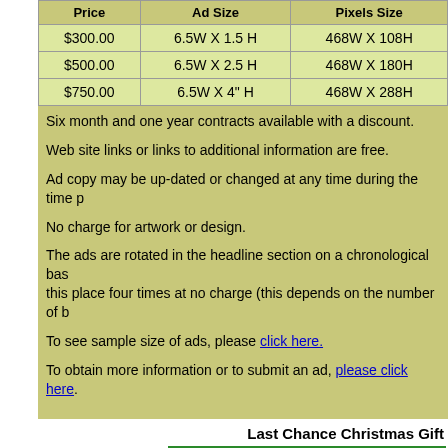| Price | Ad Size | Pixels Size |
| --- | --- | --- |
| $300.00 | 6.5W X 1.5 H | 468W X 108H |
| $500.00 | 6.5W X 2.5 H | 468W X 180H |
| $750.00 | 6.5W X 4" H | 468W X 288H |
Six month and one year contracts available with a discount.
Web site links or links to additional information are free.
Ad copy may be up-dated or changed at any time during the time p
No charge for artwork or design.
The ads are rotated in the headline section on a chronological bas... this place four times at no charge (this depends on the number of b
To see sample size of ads, please click here.
To obtain more information or to submit an ad, please click here.
Last Chance Christmas Gift
[Figure (illustration): Santa Claus holding a sign with green background banner reading 'An Exclusive Offer for Readers from Le... For only']